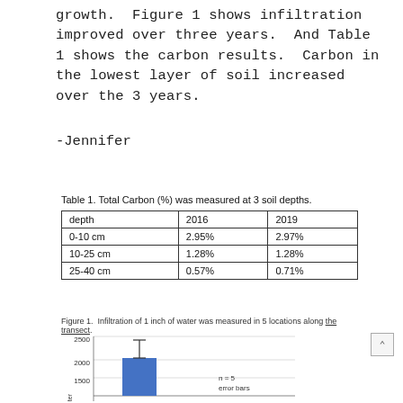growth. Figure 1 shows infiltration improved over three years. And Table 1 shows the carbon results. Carbon in the lowest layer of soil increased over the 3 years.
-Jennifer
Table 1. Total Carbon (%) was measured at 3 soil depths.
| depth | 2016 | 2019 |
| --- | --- | --- |
| 0-10 cm | 2.95% | 2.97% |
| 10-25 cm | 1.28% | 1.28% |
| 25-40 cm | 0.57% | 0.71% |
Figure 1. Infiltration of 1 inch of water was measured in 5 locations along the transect.
[Figure (bar-chart): Partial bar chart showing infiltration data with y-axis up to 2500, one blue bar visible at approximately 1600, with error bars. Legend shows n=5, error bars.]